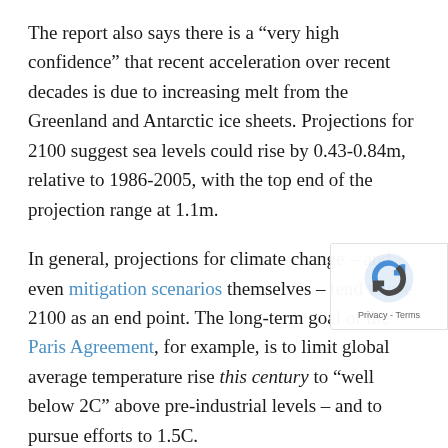The report also says there is a “very high confidence” that recent acceleration over recent decades is due to increasing melt from the Greenland and Antarctic ice sheets. Projections for 2100 suggest sea levels could rise by 0.43-0.84m, relative to 1986-2005, with the top end of the projection range at 1.1m.
In general, projections for climate change – and even mitigation scenarios themselves – tend to use 2100 as an end point. The long-term goal of the Paris Agreement, for example, is to limit global average temperature rise this century to “well below 2C” above pre-industrial levels – and to pursue efforts to 1.5C.
However, for sea levels in particular, this timescale overlooks the longer-term impacts that human-caused greenhouse gas emissions set in motion. The